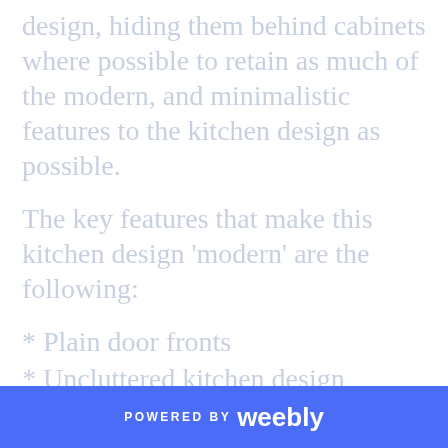design, hiding them behind cabinets where possible to retain as much of the modern, and minimalistic features to the kitchen design as possible.
The key features that make this kitchen design 'modern' are the following:
* Plain door fronts
* Uncluttered kitchen design
* Chic and minimalistic
* High end, designer look
* Refined finish
* Superbly crafted cabinetry
* Bright white or often chosen in dark
POWERED BY weebly